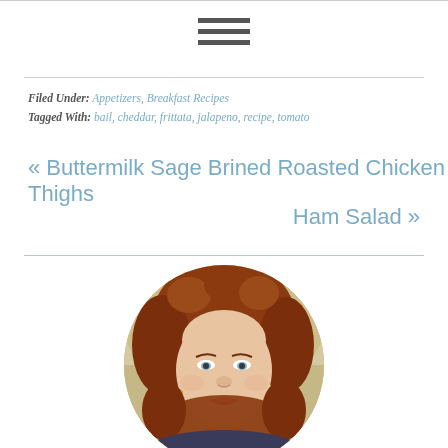≡ (hamburger menu icon)
Filed Under: Appetizers, Breakfast Recipes
Tagged With: bail, cheddar, frittata, jalapeno, recipe, tomato
« Buttermilk Sage Brined Roasted Chicken Thighs
Ham Salad »
[Figure (photo): Circular portrait photo of a woman with curly reddish-brown hair, looking slightly upward, with a blurred outdoor background.]